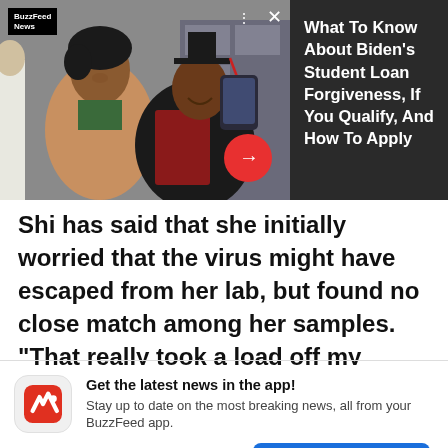[Figure (screenshot): BuzzFeed News advertisement banner showing a graduation photo with two women taking a selfie. Ad headline: 'What To Know About Biden's Student Loan Forgiveness, If You Qualify, And How To Apply'. BuzzFeed News logo top left, X close button, arrow button, dark background for text section.]
Shi has said that she initially worried that the virus might have escaped from her lab, but found no close match among her samples. "That really took a load off my mind," she told Scientific American. "I
Get the latest news in the app!
Stay up to date on the most breaking news, all from your BuzzFeed app.
Maybe later
Get the app